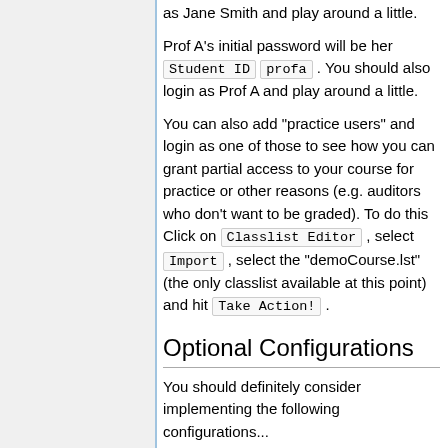as Jane Smith and play around a little.
Prof A's initial password will be her Student ID profa . You should also login as Prof A and play around a little.
You can also add "practice users" and login as one of those to see how you can grant partial access to your course for practice or other reasons (e.g. auditors who don't want to be graded). To do this Click on Classlist Editor , select Import , select the "demoCourse.lst" (the only classlist available at this point) and hit Take Action! .
Optional Configurations
You should definitely consider implementing the following configurations...